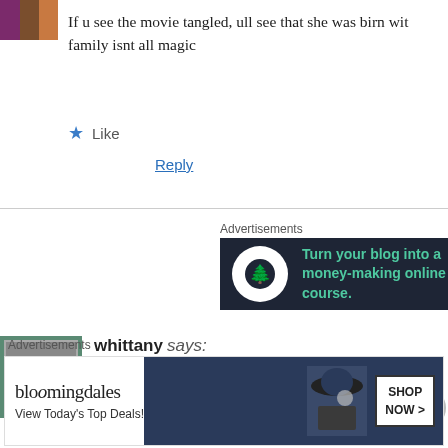[Figure (illustration): User avatar with colored blocks - purple, brown, and orange segments]
If u see the movie tangled, ull see that she was birn with family isnt all magic
★ Like
Reply
[Figure (illustration): Advertisement banner: dark background with tree icon in white circle and teal text 'Turn your blog into a money-making online course.']
[Figure (illustration): User avatar for whittany - gray square with H letter on green background]
whittany says:
30th March, 2014 at 4:54 pm
...partial comment text cut off...
[Figure (illustration): Bloomingdales advertisement banner with hat figure and 'SHOP NOW >' button]